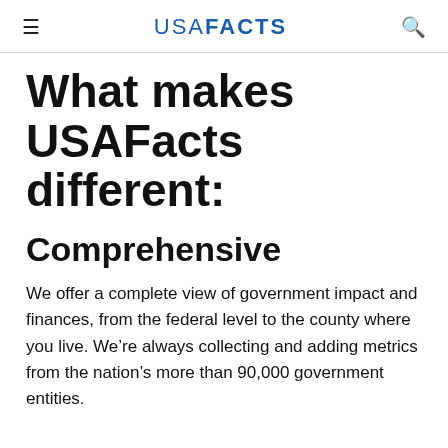USA FACTS
What makes USAFacts different:
Comprehensive
We offer a complete view of government impact and finances, from the federal level to the county where you live. We're always collecting and adding metrics from the nation's more than 90,000 government entities.